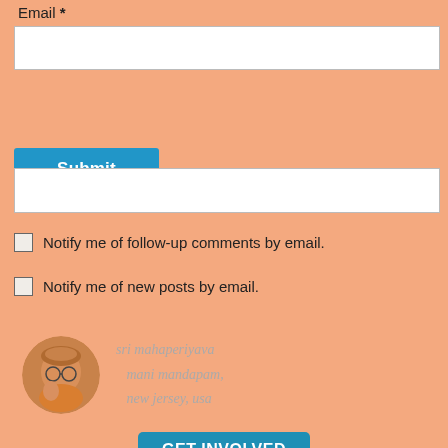Email *
[email input field]
Submit
[second input field]
Notify me of follow-up comments by email.
Notify me of new posts by email.
[Figure (photo): Portrait photo of Sri Mahaperiyava with text: sri mahaperiyava mani mandapam, new jersey, usa]
GET INVOLVED
SEARCH